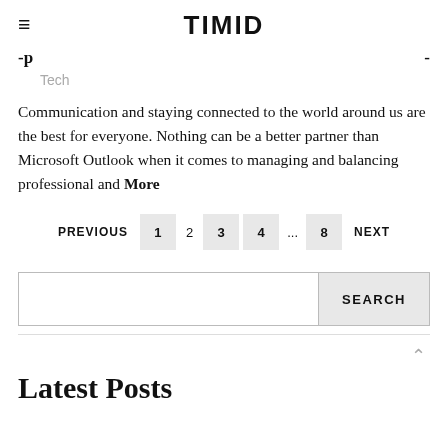TIMID
Tech
Communication and staying connected to the world around us are the best for everyone. Nothing can be a better partner than Microsoft Outlook when it comes to managing and balancing professional and More
PREVIOUS 1 2 3 4 ... 8 NEXT
SEARCH
Latest Posts